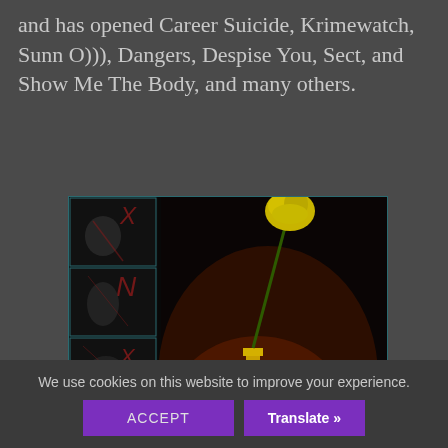and has opened Career Suicide, Krimewatch, Sunn O))), Dangers, Despise You, Sect, and Show Me The Body, and many others.
[Figure (photo): Album artwork showing a collage: left strip has four dark panels with stylized figure illustrations and red lettering; right area shows a red heart-shaped vase/perfume bottle with a yellow rose, set against a dark background with an orange fabric and a person lying down.]
We use cookies on this website to improve your experience.
ACCEPT
Translate »